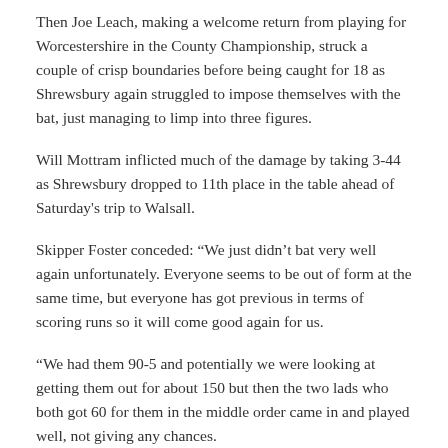Then Joe Leach, making a welcome return from playing for Worcestershire in the County Championship, struck a couple of crisp boundaries before being caught for 18 as Shrewsbury again struggled to impose themselves with the bat, just managing to limp into three figures.
Will Mottram inflicted much of the damage by taking 3-44 as Shrewsbury dropped to 11th place in the table ahead of Saturday's trip to Walsall.
Skipper Foster conceded: “We just didn’t bat very well again unfortunately. Everyone seems to be out of form at the same time, but everyone has got previous in terms of scoring runs so it will come good again for us.
“We had them 90-5 and potentially we were looking at getting them out for about 150 but then the two lads who both got 60 for them in the middle order came in and played well, not giving any chances.
“We then lost early wickets again so were always under pressure.